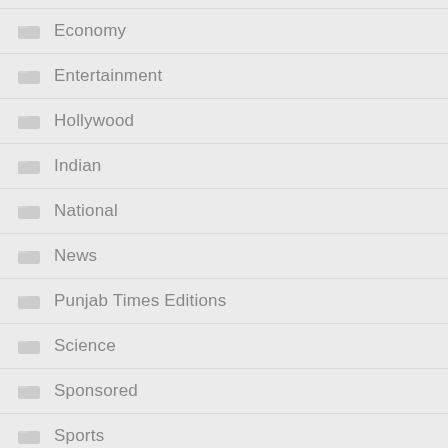Economy
Entertainment
Hollywood
Indian
National
News
Punjab Times Editions
Science
Sponsored
Sports